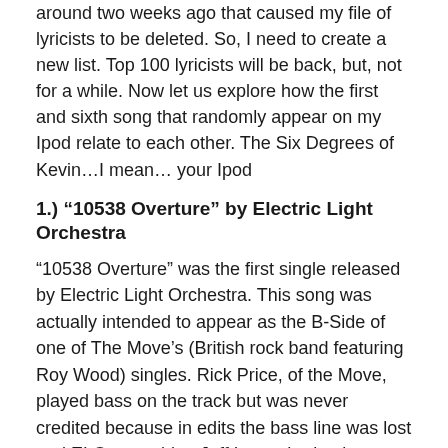around two weeks ago that caused my file of lyricists to be deleted. So, I need to create a new list. Top 100 lyricists will be back, but, not for a while. Now let us explore how the first and sixth song that randomly appear on my Ipod relate to each other. The Six Degrees of Kevin…I mean… your Ipod
1.) “10538 Overture” by Electric Light Orchestra
“10538 Overture” was the first single released by Electric Light Orchestra. This song was actually intended to appear as the B-Side of one of The Move’s (British rock band featuring Roy Wood) singles. Rick Price, of the Move, played bass on the track but was never credited because in edits the bass line was lost and ELO everything Jeff Lynne had to lay down a new track. The song, about an escaped prisoner, is perhaps best known for its fantastic guitar riff and well-known opening, “I had this